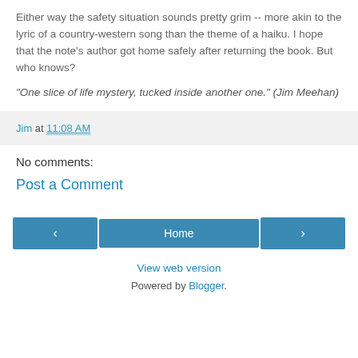Either way the safety situation sounds pretty grim -- more akin to the lyric of a country-western song than the theme of a haiku. I hope that the note's author got home safely after returning the book. But who knows?
"One slice of life mystery, tucked inside another one." (Jim Meehan)
Jim at 11:08 AM
No comments:
Post a Comment
‹ Home › View web version Powered by Blogger.